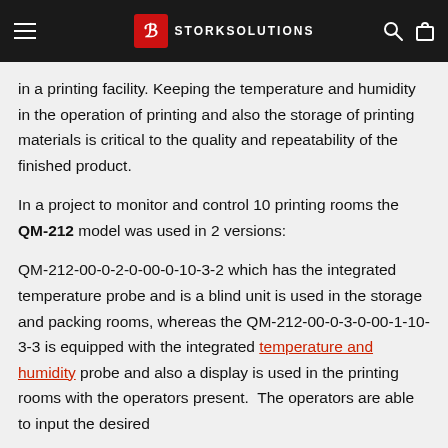STORKSOLUTIONS
One possible application of using the Prosens device is monitoring and controlling the temperature and humidity in a printing facility. Keeping the temperature and humidity in the operation of printing and also the storage of printing materials is critical to the quality and repeatability of the finished product.
In a project to monitor and control 10 printing rooms the QM-212 model was used in 2 versions:
QM-212-00-0-2-0-00-0-10-3-2 which has the integrated temperature probe and is a blind unit is used in the storage and packing rooms, whereas the QM-212-00-0-3-0-00-1-10-3-3 is equipped with the integrated temperature and humidity probe and also a display is used in the printing rooms with the operators present. The operators are able to input the desired